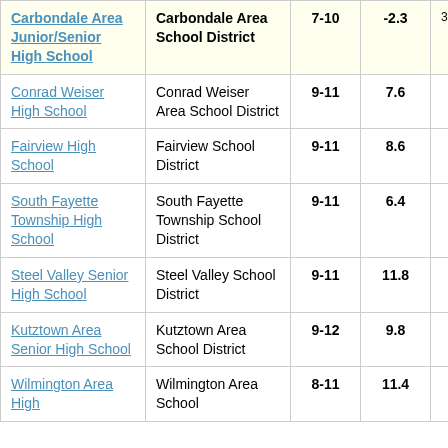| School | District | Grades | Value |  |
| --- | --- | --- | --- | --- |
| Carbondale Area Junior/Senior High School | Carbondale Area School District | 7-10 | -2.3 | 3 |
| Conrad Weiser High School | Conrad Weiser Area School District | 9-11 | 7.6 |  |
| Fairview High School | Fairview School District | 9-11 | 8.6 |  |
| South Fayette Township High School | South Fayette Township School District | 9-11 | 6.4 |  |
| Steel Valley Senior High School | Steel Valley School District | 9-11 | 11.8 |  |
| Kutztown Area Senior High School | Kutztown Area School District | 9-12 | 9.8 |  |
| Wilmington Area High School | Wilmington Area School District | 8-11 | 11.4 |  |